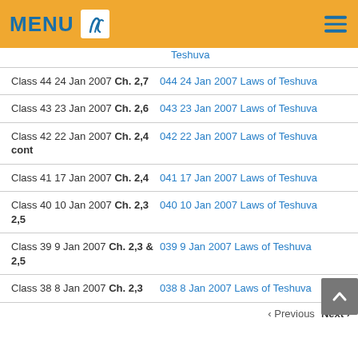MENU
Class 44 24 Jan 2007 Ch. 2,7 | 044 24 Jan 2007 Laws of Teshuva
Class 43 23 Jan 2007 Ch. 2,6 | 043 23 Jan 2007 Laws of Teshuva
Class 42 22 Jan 2007 Ch. 2,4 cont | 042 22 Jan 2007 Laws of Teshuva
Class 41 17 Jan 2007 Ch. 2,4 | 041 17 Jan 2007 Laws of Teshuva
Class 40 10 Jan 2007 Ch. 2,3 2,5 | 040 10 Jan 2007 Laws of Teshuva
Class 39 9 Jan 2007 Ch. 2,3 & 2,5 | 039 9 Jan 2007 Laws of Teshuva
Class 38 8 Jan 2007 Ch. 2,3 | 038 8 Jan 2007 Laws of Teshuva
Previous  Next